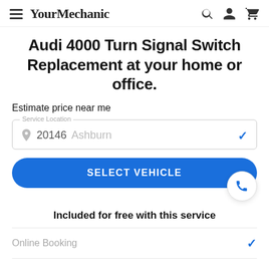YourMechanic
Audi 4000 Turn Signal Switch Replacement at your home or office.
Estimate price near me
Service Location — 20146 Ashburn
SELECT VEHICLE
Included for free with this service
Online Booking
Mechanic comes to you